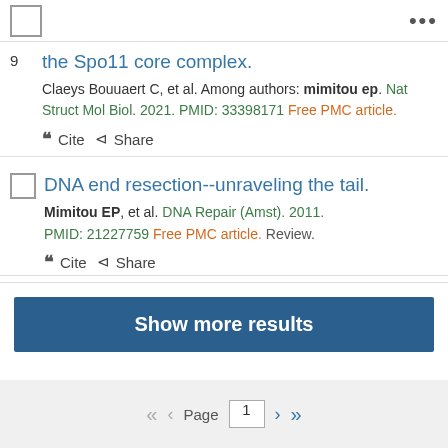9. the Spo11 core complex. Claeys Bouuaert C, et al. Among authors: mimitou ep. Nat Struct Mol Biol. 2021. PMID: 33398171 Free PMC article.
10. DNA end resection--unraveling the tail. Mimitou EP, et al. DNA Repair (Amst). 2011. PMID: 21227759 Free PMC article. Review.
Show more results
Page 1